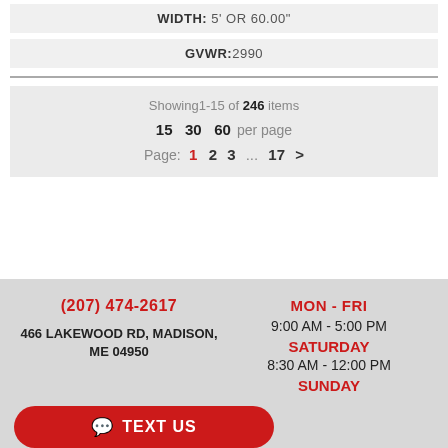WIDTH: 5' OR 60.00"
GVWR:2990
Showing1-15 of 246 items
15  30  60  per page
Page: 1  2  3  ...  17  >
(207) 474-2617
466 LAKEWOOD RD, MADISON, ME 04950
MON - FRI
9:00 AM - 5:00 PM
SATURDAY
8:30 AM - 12:00 PM
SUNDAY
TEXT US